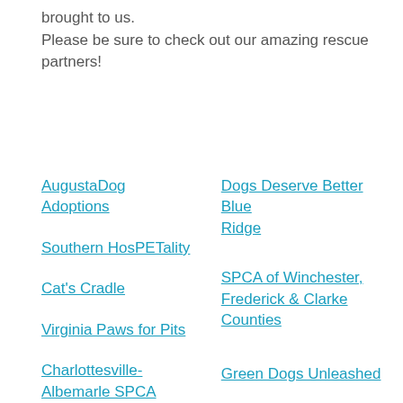brought to us.
Please be sure to check out our amazing rescue partners!
AugustaDog Adoptions
Dogs Deserve Better Blue Ridge
Southern HosPETality
SPCA of Winchester, Frederick & Clarke Counties
Cat's Cradle
Virginia Paws for Pits
Green Dogs Unleashed
Charlottesville-Albemarle SPCA
K Kids Dachshund Rescue
Human Society of
Highland County Humane